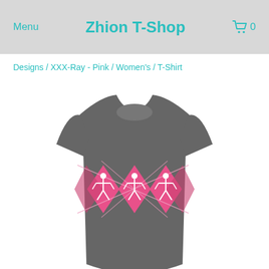Menu   Zhion T-Shop   0
Designs / XXX-Ray - Pink / Women's / T-Shirt
[Figure (photo): Gray women's t-shirt with pink argyle pattern featuring three skeleton/X-ray figures in a row on the chest area]